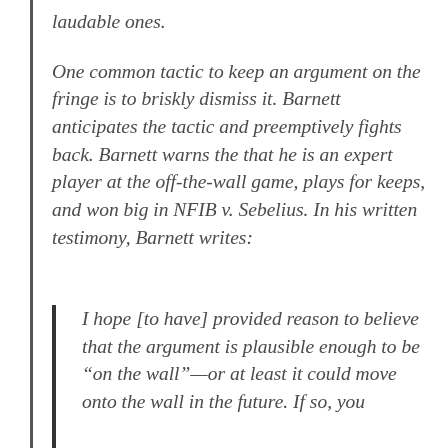laudable ones.
One common tactic to keep an argument on the fringe is to briskly dismiss it. Barnett anticipates the tactic and preemptively fights back. Barnett warns the that he is an expert player at the off-the-wall game, plays for keeps, and won big in NFIB v. Sebelius. In his written testimony, Barnett writes:
I hope [to have] provided reason to believe that the argument is plausible enough to be “on the wall”—or at least it could move onto the wall in the future. If so, you